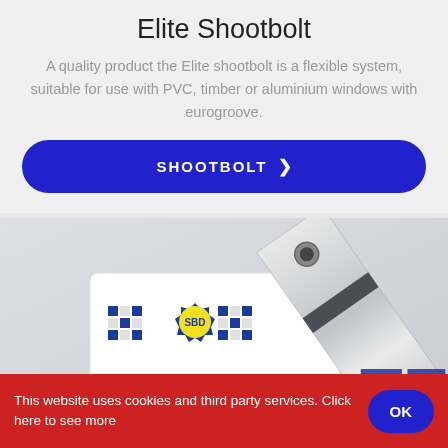Elite Shootbolt
A quality product the Elite shootbolt is a flexible system, suitable for use with PVC, timber or aluminium windows with eurogroove.
[Figure (other): Blue rounded-rectangle button with white bold text reading SHOOTBOLT followed by a right chevron symbol]
[Figure (photo): Close-up photograph of an Elite shootbolt hardware component. Shows a white plastic piece with an SBD (Secured by Design) logo — a yellow circular badge with blue star border and blue checkered pattern on either side — alongside a chrome/stainless steel metal strip with a screw hole visible, and blue text 'TE' partially visible in the lower right.]
This website uses cookies and third party services. Click here to see more